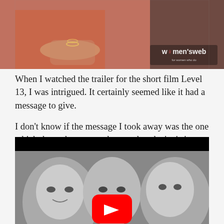[Figure (photo): A woman in a red and orange saree with bangles sitting, with Women's Web logo watermark in bottom right corner]
When I watched the trailer for the short film Level 13, I was intrigued. It certainly seemed like it had a message to give.
I don't know if the message I took away was the one which the makers wanted me to, but the 'twist' ending to the movie left me incredibly angry.
[Figure (screenshot): YouTube video thumbnail showing three actors in black and white with a red YouTube play button in the center]